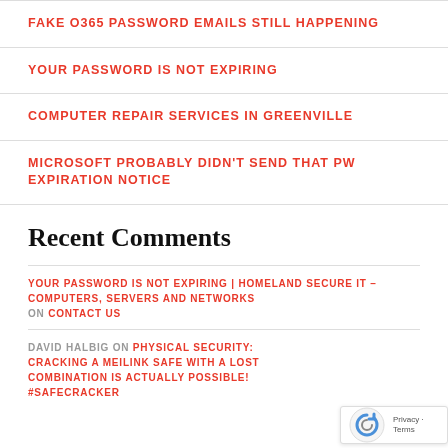FAKE O365 PASSWORD EMAILS STILL HAPPENING
YOUR PASSWORD IS NOT EXPIRING
COMPUTER REPAIR SERVICES IN GREENVILLE
MICROSOFT PROBABLY DIDN'T SEND THAT PW EXPIRATION NOTICE
Recent Comments
YOUR PASSWORD IS NOT EXPIRING | HOMELAND SECURE IT – COMPUTERS, SERVERS AND NETWORKS ON CONTACT US
DAVID HALBIG ON PHYSICAL SECURITY: CRACKING A MEILINK SAFE WITH A LOST COMBINATION IS ACTUALLY POSSIBLE! #SAFECRACKER